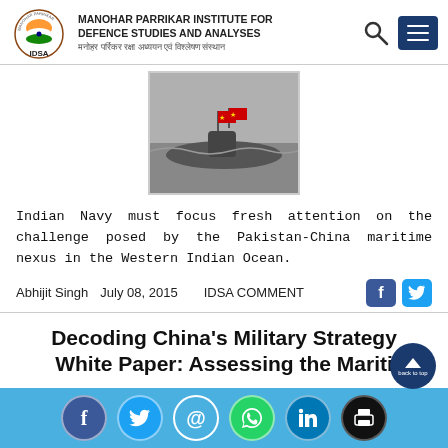MANOHAR PARRIKAR INSTITUTE FOR DEFENCE STUDIES AND ANALYSES | मनोहर पर्रिकर रक्षा अध्ययन एवं विश्लेषण संस्थान
[Figure (photo): A submarine at sea with Chinese flags flying, black and white photograph]
Indian Navy must focus fresh attention on the challenge posed by the Pakistan-China maritime nexus in the Western Indian Ocean.
Abhijit Singh   July 08, 2015      IDSA COMMENT
Decoding China's Military Strategy White Paper: Assessing the Maritime
Social share icons: Facebook, Twitter, Email, WhatsApp, LinkedIn, Print